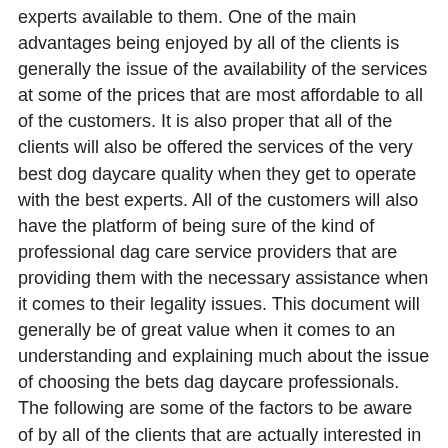experts available to them. One of the main advantages being enjoyed by all of the clients is generally the issue of the availability of the services at some of the prices that are most affordable to all of the customers. It is also proper that all of the clients will also be offered the services of the very best dog daycare quality when they get to operate with the best experts. All of the customers will also have the platform of being sure of the kind of professional dag care service providers that are providing them with the necessary assistance when it comes to their legality issues. This document will generally be of great value when it comes to an understanding and explaining much about the issue of choosing the bets dag daycare professionals. The following are some of the factors to be aware of by all of the clients that are actually interested in seeking the service of the best dog daycare experts.
One of the tips to note is the issue of the service cost that is associated with the hiring of the experts offering dag daycare services. This will be the opportunity that all of the clients will have in order to be in a position of